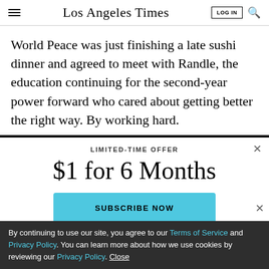Los Angeles Times
World Peace was just finishing a late sushi dinner and agreed to meet with Randle, the education continuing for the second-year power forward who cared about getting better the right way. By working hard.
LIMITED-TIME OFFER
$1 for 6 Months
SUBSCRIBE NOW
By continuing to use our site, you agree to our Terms of Service and Privacy Policy. You can learn more about how we use cookies by reviewing our Privacy Policy. Close